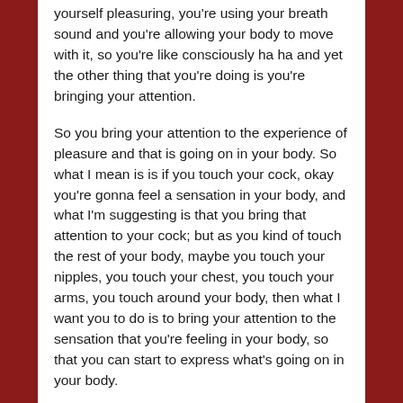yourself pleasuring, you're using your breath sound and you're allowing your body to move with it, so you're like consciously ha ha and yet the other thing that you're doing is you're bringing your attention.
So you bring your attention to the experience of pleasure and that is going on in your body. So what I mean is is if you touch your cock, okay you're gonna feel a sensation in your body, and what I'm suggesting is that you bring that attention to your cock; but as you kind of touch the rest of your body, maybe you touch your nipples, you touch your chest, you touch your arms, you touch around your body, then what I want you to do is to bring your attention to the sensation that you're feeling in your body, so that you can start to express what's going on in your body.
So if you then keep choosing to stimulate your cock, stroking it around your body and you can't, you kind of do that for a prolonged period of time, what happens is it's like climbing a mountain you just kind of start taking your...